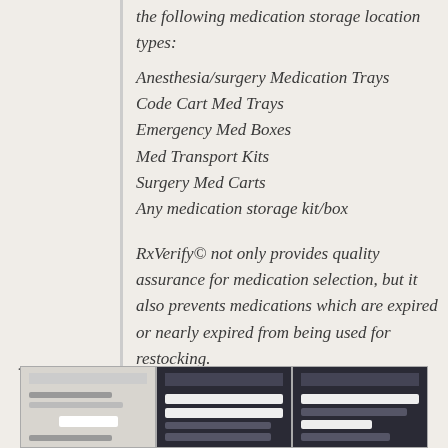the following medication storage location types:
Anesthesia/surgery Medication Trays
Code Cart Med Trays
Emergency Med Boxes
Med Transport Kits
Surgery Med Carts
Any medication storage kit/box
RxVerify© not only provides quality assurance for medication selection, but it also prevents medications which are expired or nearly expired from being used for restocking.
[Figure (screenshot): Screenshot of RxVerify software interface, lighter background]
[Figure (screenshot): Screenshot of RxVerify software interface, dark background]
[Figure (screenshot): Screenshot of RxVerify software interface, dark background]